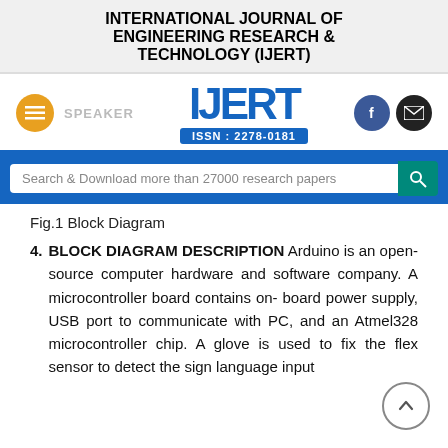INTERNATIONAL JOURNAL OF ENGINEERING RESEARCH & TECHNOLOGY (IJERT)
[Figure (logo): IJERT logo with ISSN: 2278-0181, hamburger menu button, SPEAKER text, Facebook and email social icons]
Search & Download more than 27000 research papers
Fig.1 Block Diagram
4. BLOCK DIAGRAM DESCRIPTION Arduino is an open-source computer hardware and software company. A microcontroller board contains on- board power supply, USB port to communicate with PC, and an Atmel328 microcontroller chip. A glove is used to fix the flex sensor to detect the sign language input